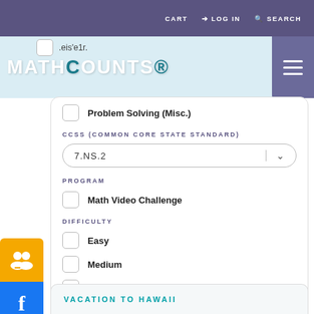CART  LOG IN  SEARCH
[Figure (logo): MATHCOUNTS logo on light blue background with hamburger menu button]
Problem Solving (Misc.)
CCSS (COMMON CORE STATE STANDARD)
7.NS.2
PROGRAM
Math Video Challenge
DIFFICULTY
Easy
Medium
Difficult
[Figure (infographic): Social media icons: yellow people/group icon, Facebook, Twitter, Pinterest]
VACATION TO HAWAII